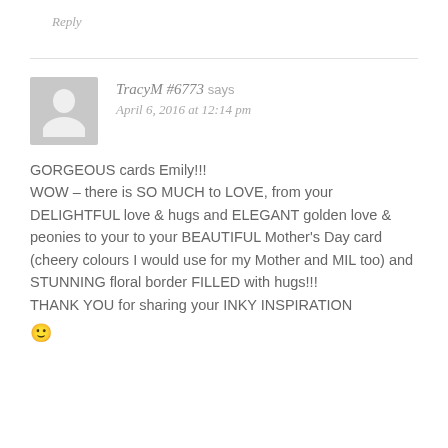Reply
TracyM #6773 says
April 6, 2016 at 12:14 pm
GORGEOUS cards Emily!!!
WOW – there is SO MUCH to LOVE, from your DELIGHTFUL love & hugs and ELEGANT golden love & peonies to your to your BEAUTIFUL Mother's Day card (cheery colours I would use for my Mother and MIL too) and STUNNING floral border FILLED with hugs!!!
THANK YOU for sharing your INKY INSPIRATION 🙂